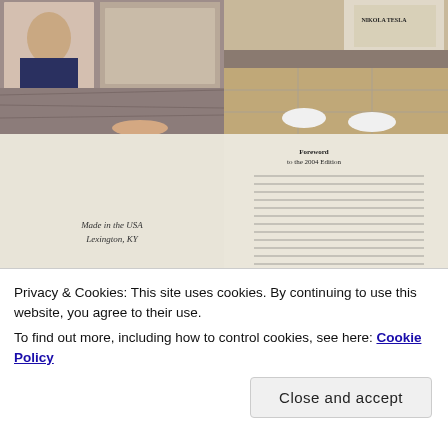[Figure (photo): Top-left composite: woman portrait photo overlapping a painting/art image, with marble/stone surface below]
[Figure (photo): Top-right: book cover 'NIKOLA TESLA' visible, person's feet in white socks on tile floor]
[Figure (photo): Bottom-left: blank cream/beige page interior of book with text 'Made in the USA / Lexington, KY']
[Figure (photo): Bottom-right: book page showing 'Foreword to the 2004 Edition' with printed text]
Privacy & Cookies: This site uses cookies. By continuing to use this website, you agree to their use.
To find out more, including how to control cookies, see here: Cookie Policy
Close and accept